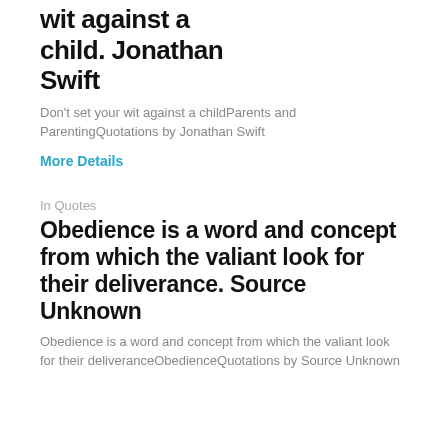wit against a child. Jonathan Swift
Don't set your wit against a childParents and ParentingQuotations by Jonathan Swift
More Details
In Quotes
Obedience is a word and concept from which the valiant look for their deliverance. Source Unknown
Obedience is a word and concept from which the valiant look for their deliveranceObedienceQuotations by Source Unknown